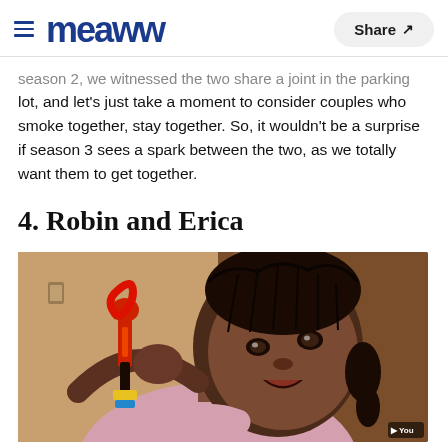Meaww | Share
season 2, we witnessed the two share a joint in the parking lot, and let's just take a moment to consider couples who smoke together, stay together. So, it wouldn't be a surprise if season 3 sees a spark between the two, as we totally want them to get together.
4. Robin and Erica
[Figure (photo): A young Black girl with braided hair and pigtails, making an expressive face and holding a toy (appears to be a colorful figurine). The background is warm brown/wooden tones.]